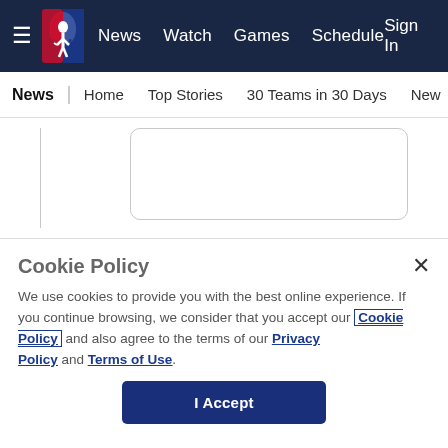NBA — News | Watch | Games | Schedule | Sign In
News | Home | Top Stories | 30 Teams in 30 Days | New
[Figure (screenshot): Partial content area with a rounded-corner box and left vertical bar, representing a partially visible article or card content.]
[Figure (screenshot): Gray band separator between content and related section.]
Related
Cookie Policy
We use cookies to provide you with the best online experience. If you continue browsing, we consider that you accept our Cookie Policy and also agree to the terms of our Privacy Policy and Terms of Use.
I Accept